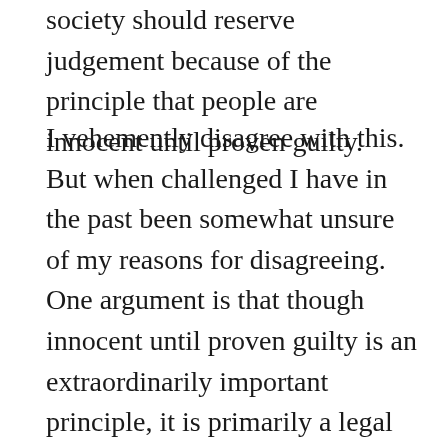society should reserve judgement because of the principle that people are innocent until proven guilty.
I vehemently disagree with this. But when challenged I have in the past been somewhat unsure of my reasons for disagreeing. One argument is that though innocent until proven guilty is an extraordinarily important principle, it is primarily a legal principle. That means it applies to the courts and the legal process of convicting someone of a crime. If someone is to be subjected to state punishment (from fines, to jail, to being executed), then they have the right to be presumed innocent until proven guilty so that the obligation rests with the prosecution and not the accused to prove guilt beyond reasonable doubt. It is however not clear that public condemnation of an alleged rapist should be subject to